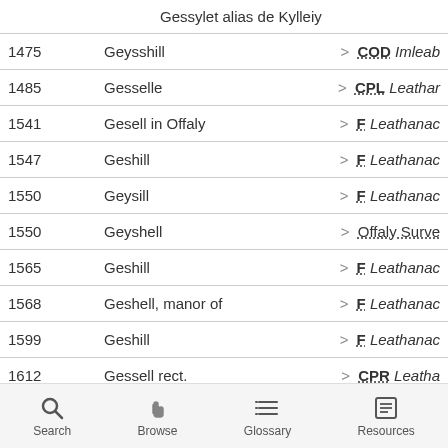Gessylet alias de Kylleiy
| Year | Name | Reference |
| --- | --- | --- |
| 1475 | Geysshill | > COD Imleab |
| 1485 | Gesselle | > CPL Leathar |
| 1541 | Gesell in Offaly | > F Leathanac |
| 1547 | Geshill | > F Leathanac |
| 1550 | Geysill | > F Leathanac |
| 1550 | Geyshell | > Offaly Surve |
| 1565 | Geshill | > F Leathanac |
| 1568 | Geshell, manor of | > F Leathanac |
| 1599 | Geshill | > F Leathanac |
| 1612 | Gessell rect. | > CPR Leatha |
Search   Browse   Glossary   Resources